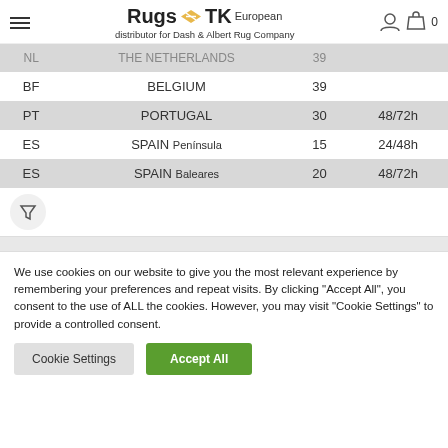Rugs TK European distributor for Dash & Albert Rug Company
|  |  |  |  |
| --- | --- | --- | --- |
| NL | THE NETHERLANDS | 39 |  |
| BF | BELGIUM | 39 |  |
| PT | PORTUGAL | 30 | 48/72h |
| ES | SPAIN Península | 15 | 24/48h |
| ES | SPAIN Baleares | 20 | 48/72h |
We use cookies on our website to give you the most relevant experience by remembering your preferences and repeat visits. By clicking "Accept All", you consent to the use of ALL the cookies. However, you may visit "Cookie Settings" to provide a controlled consent.